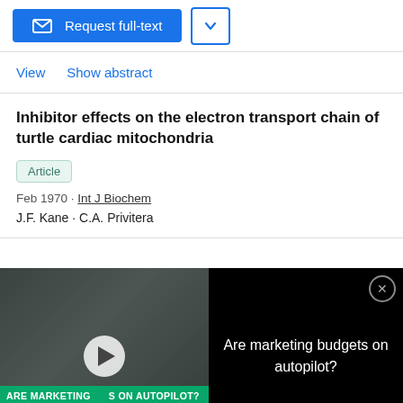[Figure (screenshot): Request full-text button (blue) and dropdown button (outlined blue)]
View   Show abstract
Inhibitor effects on the electron transport chain of turtle cardiac mitochondria
Article
Feb 1970 · Int J Biochem
J.F. Kane · C.A. Privitera
[Figure (photo): Video overlay showing people in a meeting with text 'ARE MARKETING BUDGETS ON AUTOPILOT?' and a play button. Right side black panel with text 'Are marketing budgets on autopilot?' and a close button.]
Article
Oct 1962 · Biochim Biophys Acta
Advertisement
[Figure (screenshot): Walgreens ad: Ashburn ABIERTO 8:00-22:00, 20321 Susan Leslie Dr, Ashburn with navigation icon]